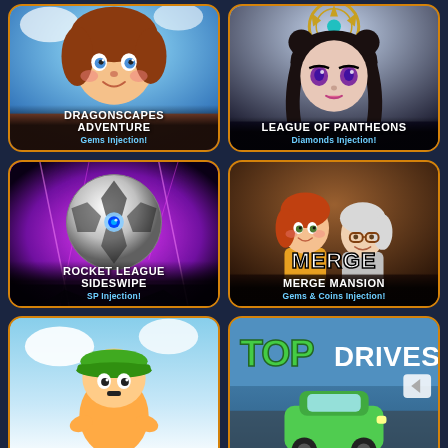[Figure (illustration): Dragonscapes Adventure game card with animated girl character, blue background. Title: DRAGONSCAPES ADVENTURE. Subtitle: Gems Injection!]
[Figure (illustration): League of Pantheons game card with anime-style female character wearing ornate headpiece. Title: LEAGUE OF PANTHEONS. Subtitle: Diamonds Injection!]
[Figure (illustration): Rocket League Sideswipe game card with soccer ball on purple/magenta background. Title: ROCKET LEAGUE SIDESWIPE. Subtitle: SP Injection!]
[Figure (illustration): Merge Mansion game card with two cartoon female characters (young and old). Title: MERGE MANSION. Subtitle: Gems & Coins Injection!]
[Figure (illustration): Stumble Guys style game card with cartoon character wearing green cap on blue/white background. Partially visible at bottom.]
[Figure (illustration): Top Drives game card with green logo text TOP DRIVES and a green car on road background. Partially visible at bottom.]